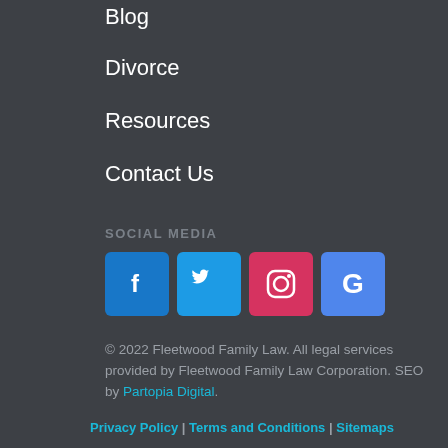Blog
Divorce
Resources
Contact Us
SOCIAL MEDIA
[Figure (infographic): Social media icons: Facebook, Twitter, Instagram, Google]
© 2022 Fleetwood Family Law. All legal services provided by Fleetwood Family Law Corporation. SEO by Partopia Digital.
Privacy Policy | Terms and Conditions | Sitemaps